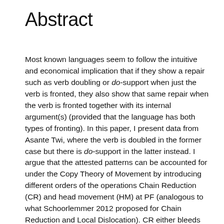Abstract
Most known languages seem to follow the intuitive and economical implication that if they show a repair such as verb doubling or do-support when just the verb is fronted, they also show that same repair when the verb is fronted together with its internal argument(s) (provided that the language has both types of fronting). In this paper, I present data from Asante Twi, where the verb is doubled in the former case but there is do-support in the latter instead. I argue that the attested patterns can be accounted for under the Copy Theory of Movement by introducing different orders of the operations Chain Reduction (CR) and head movement (HM) at PF (analogous to what Schoorlemmer 2012 proposed for Chain Reduction and Local Dislocation). CR either bleeds HM giving rise to consistent do-support (as in German) or counterbleeds it leading to consistent verb doubling (as in Hebrew). The Asante Twi pattern is a result of the interaction of the bleeding order with Ā-head movement, where the bleeding effect of the order is neutralised by